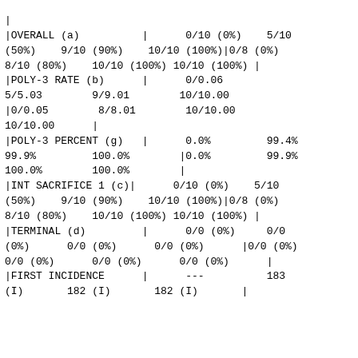|
|OVERALL (a)          |      0/10 (0%)    5/10 (50%)    9/10 (90%)    10/10 (100%)|0/8 (0%)    8/10 (80%)    10/10 (100%) 10/10 (100%) |
|POLY-3 RATE (b)      |      0/0.06       5/5.03        9/9.01        10/10.00
|0/0.05      8/8.01        10/10.00      10/10.00      |
|POLY-3 PERCENT (g)   |      0.0%         99.4%         99.9%         100.0%        |0.0%         99.9%         100.0%        100.0%        |
|INT SACRIFICE 1 (c)|      0/10 (0%)    5/10 (50%)    9/10 (90%)    10/10 (100%)|0/8 (0%)    8/10 (80%)    10/10 (100%) 10/10 (100%) |
|TERMINAL (d)         |      0/0 (0%)     0/0 (0%)      0/0 (0%)      0/0 (0%)      |0/0 (0%)    0/0 (0%)      0/0 (0%)      0/0 (0%)      |
|FIRST INCIDENCE      |      ---          183 (I)       182 (I)       182 (I)       |